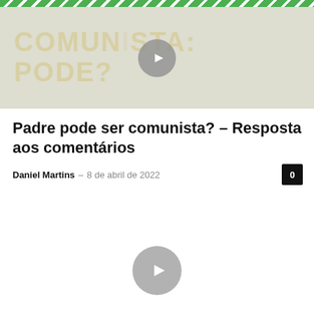decorative striped header bar
[Figure (screenshot): Video thumbnail showing text 'COMUNISTA: PODE?' with a play button overlay, light beige/grey background]
Padre pode ser comunista? – Resposta aos comentários
Daniel Martins – 8 de abril de 2022
[Figure (other): Video player area with play button (circular grey button with triangle) on white background]